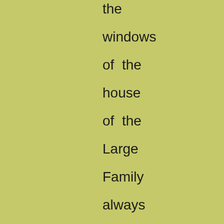the windows of the house of the Large Family always looked delightfully cozy and alluring, and the study in which the